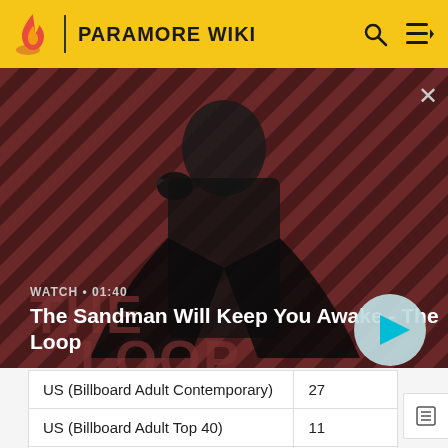PARAMORE WIKI
[Figure (screenshot): Video thumbnail for 'The Sandman Will Keep You Awake - The Loop' showing a dark figure with a raven on a striped red/dark background with 'THE LOOP' text. Shows WATCH • 01:40 label and a play button.]
| Chart | Peak |
| --- | --- |
| US (Billboard Adult Contemporary) | 27 |
| US (Billboard Adult Top 40) | 11 |
| US (Billboard Mainstream Top 40) | 8 |